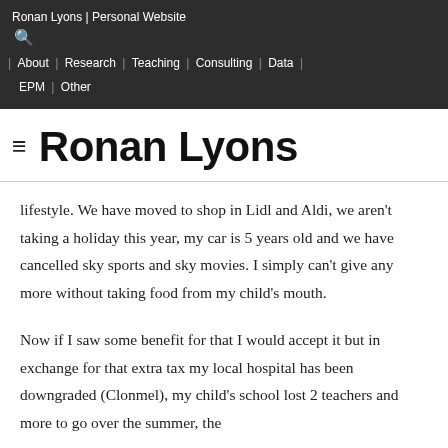Ronan Lyons | Personal Website
| About | Research | Teaching | Consulting | Data | EPM | Other
Ronan Lyons
lifestyle. We have moved to shop in Lidl and Aldi, we aren't taking a holiday this year, my car is 5 years old and we have cancelled sky sports and sky movies. I simply can't give any more without taking food from my child's mouth.
Now if I saw some benefit for that I would accept it but in exchange for that extra tax my local hospital has been downgraded (Clonmel), my child's school lost 2 teachers and more to go over the summer, the